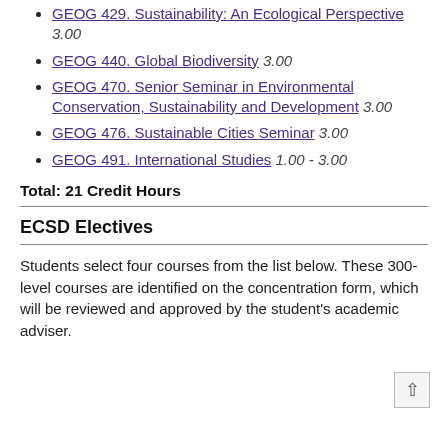GEOG 429. Sustainability: An Ecological Perspective 3.00
GEOG 440. Global Biodiversity 3.00
GEOG 470. Senior Seminar in Environmental Conservation, Sustainability and Development 3.00
GEOG 476. Sustainable Cities Seminar 3.00
GEOG 491. International Studies 1.00 - 3.00
Total: 21 Credit Hours
ECSD Electives
Students select four courses from the list below. These 300-level courses are identified on the concentration form, which will be reviewed and approved by the student's academic adviser.